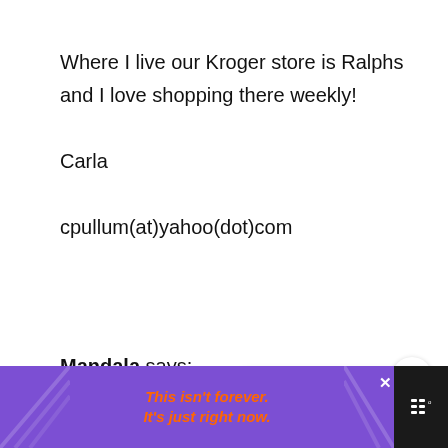Where I live our Kroger store is Ralphs and I love shopping there weekly!

Carla

cpullum(at)yahoo(dot)com
Mandala says:
I'd be getting Cheerios – thanks for the
[Figure (screenshot): Kroger ad with 'WHAT'S NEXT → Kroger Buy 5 Save $5...' and Kroger logo circle]
[Figure (infographic): Purple advertisement banner with orange italic text 'This isn't forever. It's just right now.' and a close X button]